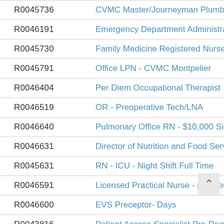| ID | Title |
| --- | --- |
| R0045736 | CVMC Master/Journeyman Plumber |
| R0046191 | Emergency Department Administrative A |
| R0045730 | Family Medicine Registered Nurse |
| R0045791 | Office LPN - CVMC Montpelier |
| R0046404 | Per Diem Occupational Therapist |
| R0046519 | OR - Preoperative Tech/LNA |
| R0046640 | Pulmonary Office RN - $10,000 Sign On B |
| R0046631 | Director of Nutrition and Food Services |
| R0045631 | RN - ICU - Night Shift Full Time |
| R0046591 | Licensed Practical Nurse - per diem |
| R0046600 | EVS Preceptor- Days |
| R0043816 | Patient Access Specialist Pre-Registratio |